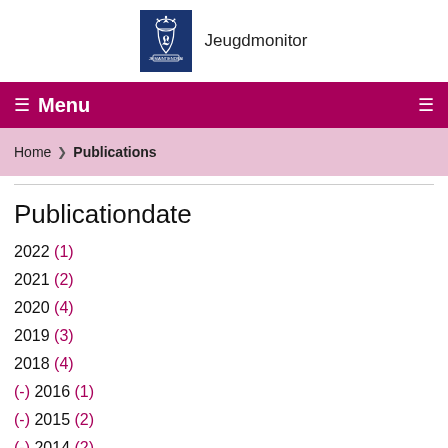[Figure (logo): Dutch government coat of arms logo on dark blue background with 'Jeugdmonitor' text]
☰ Menu
Home ❯ Publications
Publicationdate
2022 (1)
2021 (2)
2020 (4)
2019 (3)
2018 (4)
(-) 2016 (1)
(-) 2015 (2)
(-) 2014 (2)
(-) 2013 (1)
2012 (1)